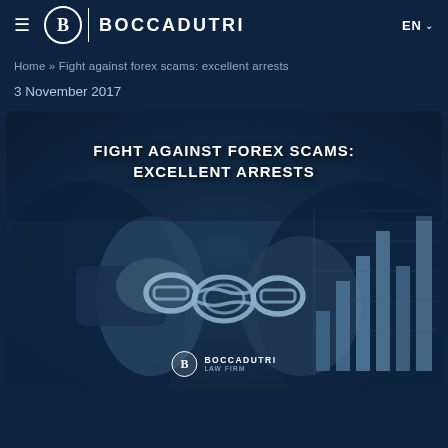BOCCADUTRI — EN
Home » Fight against forex scams: excellent arrests
3 November 2017
[Figure (photo): Article header image showing handcuffed wrists with financial chart graphics overlay, dark blue toned, with text overlay reading 'FIGHT AGAINST FOREX SCAMS: EXCELLENT ARRESTS' and Boccadutri Law Firm logo at bottom]